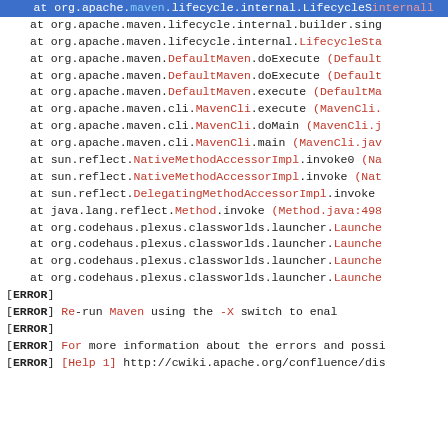Stack trace / Maven error log output showing call stack and ERROR messages
at org.apache.maven.lifecycle.internal.builder.sing
at org.apache.maven.lifecycle.internal.LifecycleSta
at org.apache.maven.DefaultMaven.doExecute (Default
at org.apache.maven.DefaultMaven.doExecute (Default
at org.apache.maven.DefaultMaven.execute (DefaultMa
at org.apache.maven.cli.MavenCli.execute (MavenCli.
at org.apache.maven.cli.MavenCli.doMain (MavenCli.j
at org.apache.maven.cli.MavenCli.main (MavenCli.jav
at sun.reflect.NativeMethodAccessorImpl.invoke0 (Na
at sun.reflect.NativeMethodAccessorImpl.invoke (Nat
at sun.reflect.DelegatingMethodAccessorImpl.invoke
at java.lang.reflect.Method.invoke (Method.java:498
at org.codehaus.plexus.classworlds.launcher.Launche
at org.codehaus.plexus.classworlds.launcher.Launche
at org.codehaus.plexus.classworlds.launcher.Launche
at org.codehaus.plexus.classworlds.launcher.Launche
[ERROR]
[ERROR] Re-run Maven using the -X switch to enal
[ERROR]
[ERROR] For more information about the errors and possi
[ERROR] [Help 1] http://cwiki.apache.org/confluence/dis